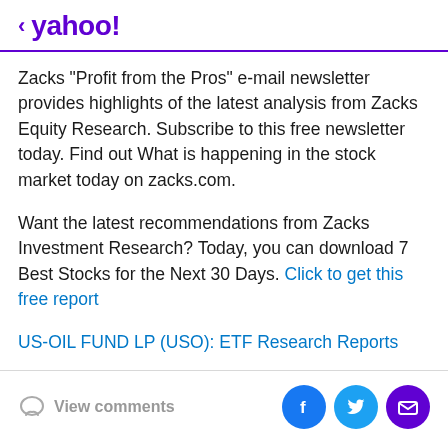< yahoo!
Zacks "Profit from the Pros" e-mail newsletter provides highlights of the latest analysis from Zacks Equity Research. Subscribe to this free newsletter today. Find out What is happening in the stock market today on zacks.com.
Want the latest recommendations from Zacks Investment Research? Today, you can download 7 Best Stocks for the Next 30 Days. Click to get this free report
US-OIL FUND LP (USO): ETF Research Reports
View comments